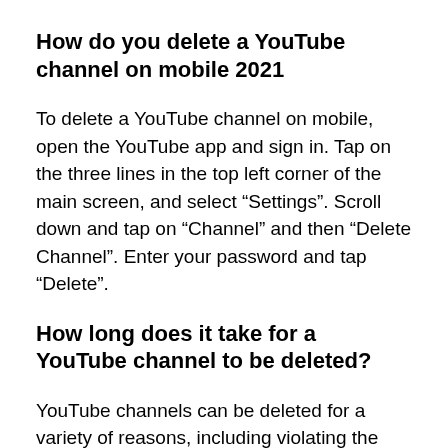How do you delete a YouTube channel on mobile 2021
To delete a YouTube channel on mobile, open the YouTube app and sign in. Tap on the three lines in the top left corner of the main screen, and select “Settings”. Scroll down and tap on “Channel” and then “Delete Channel”. Enter your password and tap “Delete”.
How long does it take for a YouTube channel to be deleted?
YouTube channels can be deleted for a variety of reasons, including violating the